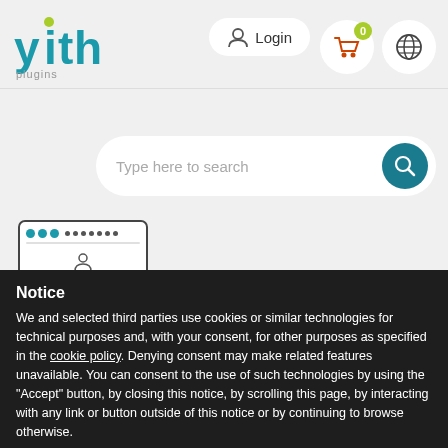[Figure (logo): YITH logo in teal with green dot accent]
[Figure (screenshot): Login button, cart with badge 0, globe icon in header]
[Figure (screenshot): Search bar with magnifier button and hamburger menu]
[Figure (screenshot): Browser window mockup icon]
Notice
We and selected third parties use cookies or similar technologies for technical purposes and, with your consent, for other purposes as specified in the cookie policy. Denying consent may make related features unavailable. You can consent to the use of such technologies by using the "Accept" button, by closing this notice, by scrolling this page, by interacting with any link or button outside of this notice or by continuing to browse otherwise.
LEARN MORE AND CUSTOMIZE
ACCEPT